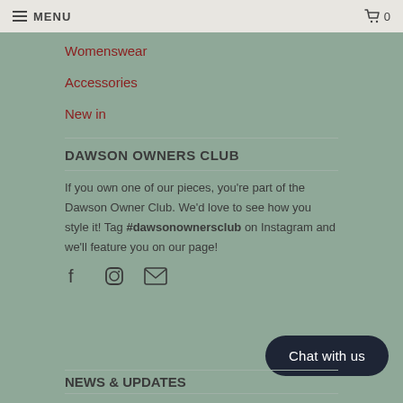≡ MENU   🛒 0
Womenswear
Accessories
New in
DAWSON OWNERS CLUB
If you own one of our pieces, you're part of the Dawson Owner Club. We'd love to see how you style it! Tag #dawsonownersclub on Instagram and we'll feature you on our page!
[Figure (illustration): Social media icons: Facebook, Instagram, Email]
[Figure (other): Chat with us button (dark rounded rectangle)]
NEWS & UPDATES